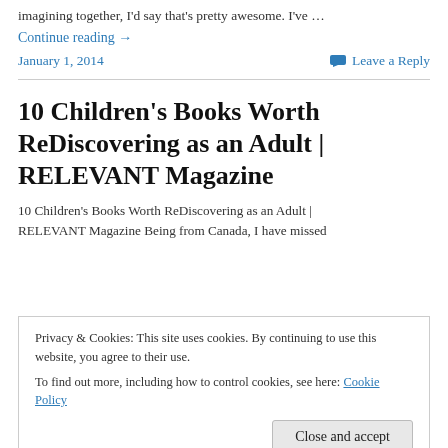imagining together, I'd say that's pretty awesome. I've …
Continue reading →
January 1, 2014
Leave a Reply
10 Children's Books Worth ReDiscovering as an Adult | RELEVANT Magazine
10 Children's Books Worth ReDiscovering as an Adult | RELEVANT Magazine  Being from Canada, I have missed
Privacy & Cookies: This site uses cookies. By continuing to use this website, you agree to their use.
To find out more, including how to control cookies, see here: Cookie Policy
Close and accept
November 8, 2013
Leave a Reply